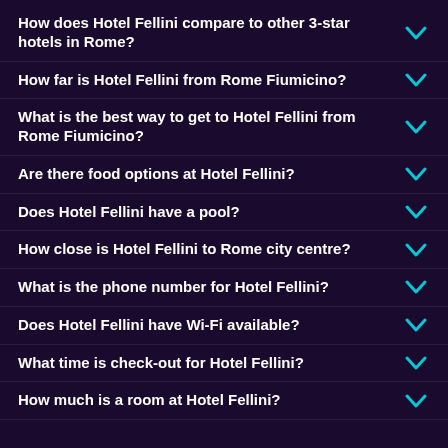How does Hotel Fellini compare to other 3-star hotels in Rome?
How far is Hotel Fellini from Rome Fiumicino?
What is the best way to get to Hotel Fellini from Rome Fiumicino?
Are there food options at Hotel Fellini?
Does Hotel Fellini have a pool?
How close is Hotel Fellini to Rome city centre?
What is the phone number for Hotel Fellini?
Does Hotel Fellini have Wi-Fi available?
What time is check-out for Hotel Fellini?
How much is a room at Hotel Fellini?